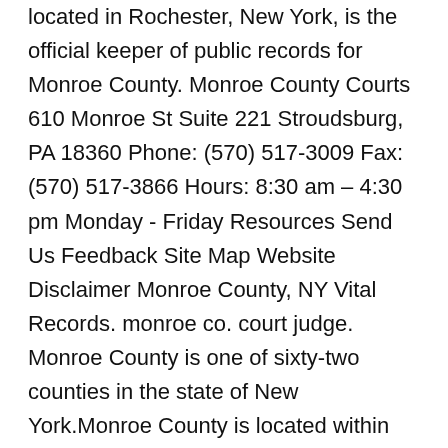located in Rochester, New York, is the official keeper of public records for Monroe County. Monroe County Courts 610 Monroe St Suite 221 Stroudsburg, PA 18360 Phone: (570) 517-3009 Fax: (570) 517-3866 Hours: 8:30 am – 4:30 pm Monday - Friday Resources Send Us Feedback Site Map Website Disclaimer Monroe County, NY Vital Records. monroe co. court judge. Monroe County is one of sixty-two counties in the state of New York.Monroe County is located within the 7th Judicial District and contains several different trial courts.. Meredith Vacca is an Assistant District Attorney, Special Victims Trial Division, Monroe County District Attorney's Office who has spent the last twelve years of her career answering and fighting for justice. The county is named after James Monroe, the fifth President of the United States. Its county seat and largest city is the city of Rochester. Read More The United States District Court for the Western District of New York has jurisdiction in Monroe County. Chamber Foundation ... What to know. Online Court Resources. See reviews, photos, directions, phone numbers and more for New York State Monroe